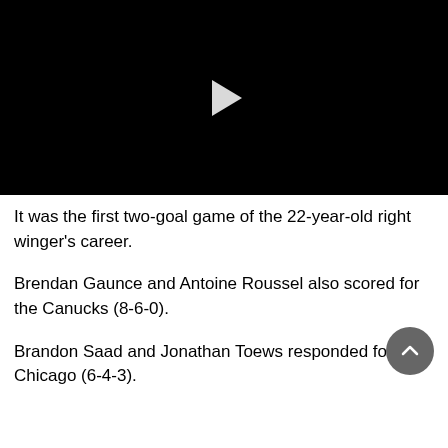[Figure (screenshot): Black video player with white play button triangle in the center]
It was the first two-goal game of the 22-year-old right winger's career.
Brendan Gaunce and Antoine Roussel also scored for the Canucks (8-6-0).
Brandon Saad and Jonathan Toews responded for Chicago (6-4-3).